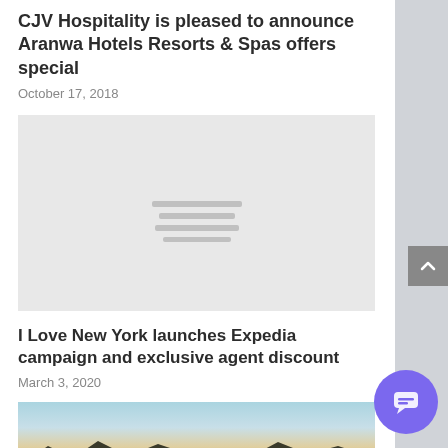CJV Hospitality is pleased to announce Aranwa Hotels Resorts & Spas offers special
October 17, 2018
[Figure (photo): Placeholder image with loading lines indicator]
I Love New York launches Expedia campaign and exclusive agent discount
March 3, 2020
[Figure (photo): Landscape photo showing sky with clouds and mountain silhouettes]